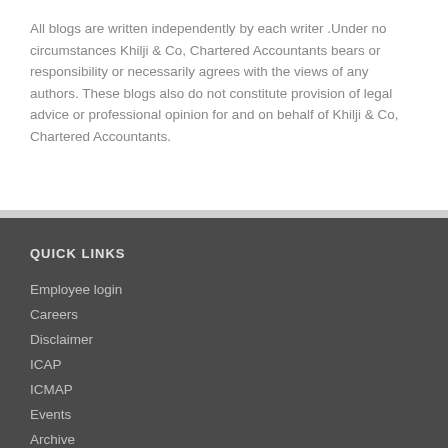All blogs are written independently by each writer .Under no circumstances Khilji & Co, Chartered Accountants bears or responsibility or necessarily agrees with the views of any authors. These blogs also do not constitute provision of legal advice or professional opinion for and on behalf of Khilji & Co, Chartered Accountants.
QUICK LINKS
Employee login
Careers
Disclaimer
ICAP
ICMAP
Events
Archive